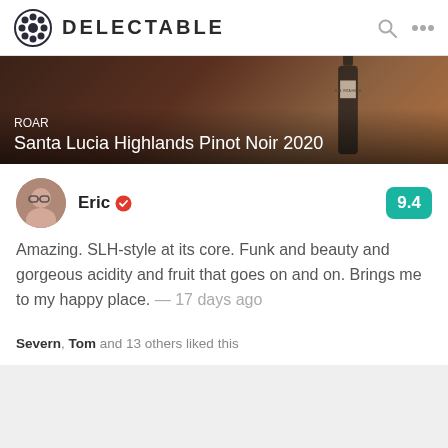DELECTABLE
[Figure (photo): Wine bottle photo banner showing ROAR Santa Lucia Highlands Pinot Noir 2020 label with dark background]
ROAR Santa Lucia Highlands Pinot Noir 2020
Eric — 9.4 rating
Amazing. SLH-style at its core. Funk and beauty and gorgeous acidity and fruit that goes on and on. Brings me to my happy place. — 17 days ago
Severn, Tom and 13 others liked this